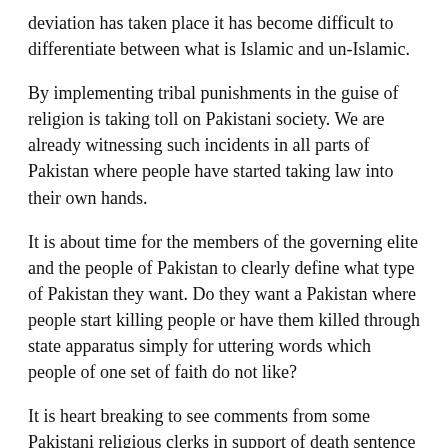deviation has taken place it has become difficult to differentiate between what is Islamic and un-Islamic.
By implementing tribal punishments in the guise of religion is taking toll on Pakistani society. We are already witnessing such incidents in all parts of Pakistan where people have started taking law into their own hands.
It is about time for the members of the governing elite and the people of Pakistan to clearly define what type of Pakistan they want. Do they want a Pakistan where people start killing people or have them killed through state apparatus simply for uttering words which people of one set of faith do not like?
It is heart breaking to see comments from some Pakistani religious clerks in support of death sentence of Aysia BiBi. Supporting death sentence to Aysia BiBi by these religious clerks is causing a bad name to Pakistan.